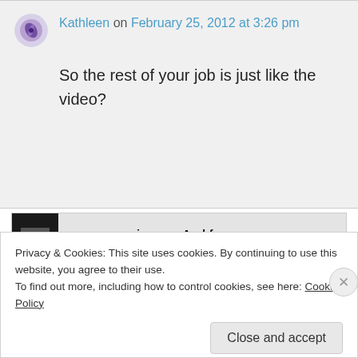Kathleen on February 25, 2012 at 3:26 pm
So the rest of your job is just like the video?
[Figure (other): Advertisement banner with dark left block and text 'same page is easy. And free.']
Privacy & Cookies: This site uses cookies. By continuing to use this website, you agree to their use.
To find out more, including how to control cookies, see here: Cookie Policy
Close and accept